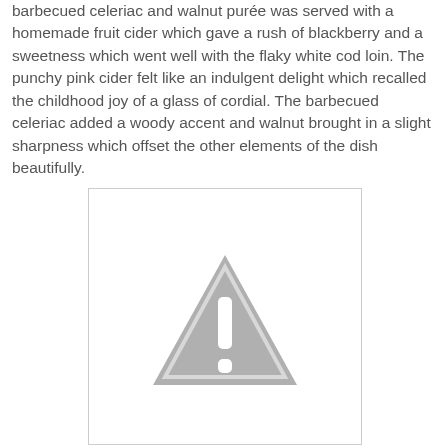barbecued celeriac and walnut purée was served with a homemade fruit cider which gave a rush of blackberry and a sweetness which went well with the flaky white cod loin. The punchy pink cider felt like an indulgent delight which recalled the childhood joy of a glass of cordial. The barbecued celeriac added a woody accent and walnut brought in a slight sharpness which offset the other elements of the dish beautifully.
[Figure (other): Placeholder image with a grey warning/alert triangle icon (exclamation mark) on white background, bordered with a thin grey line.]